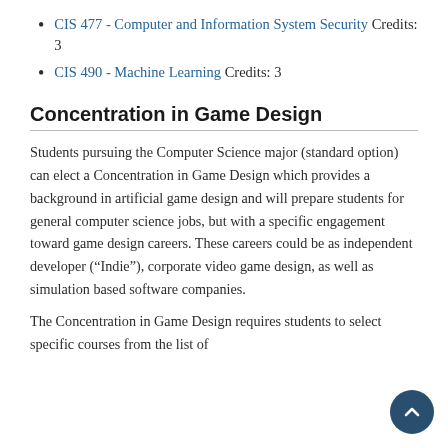CIS 477 - Computer and Information System Security Credits: 3
CIS 490 - Machine Learning Credits: 3
Concentration in Game Design
Students pursuing the Computer Science major (standard option) can elect a Concentration in Game Design which provides a background in artificial game design and will prepare students for general computer science jobs, but with a specific engagement toward game design careers. These careers could be as independent developer (“Indie”), corporate video game design, as well as simulation based software companies.
The Concentration in Game Design requires students to select specific courses from the list of